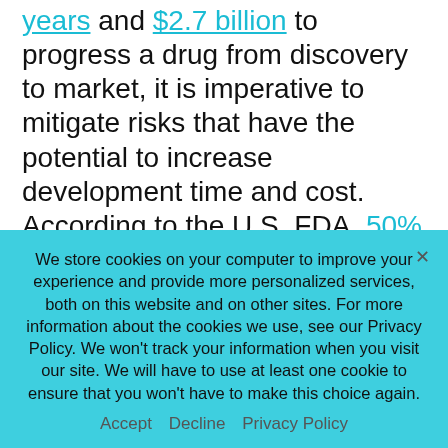years and $2.7 billion to progress a drug from discovery to market, it is imperative to mitigate risks that have the potential to increase development time and cost. According to the U.S. FDA, 50% of new drug applications filed between 2000 and 2012 were rejected, 11.3% of which were due to CMC issues. With as much as 15% of total R&D expenditures spent on CMC activities, these issues can have a significant negative financial impact – and in some
We store cookies on your computer to improve your experience and provide more personalized services, both on this website and on other sites. For more information about the cookies we use, see our Privacy Policy. We won't track your information when you visit our site. We will have to use at least one cookie to ensure that you won't have to make this choice again.
Accept   Decline   Privacy Policy